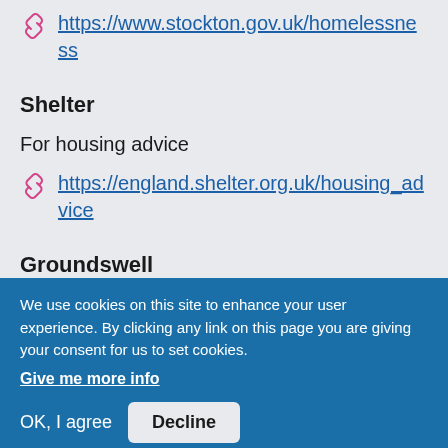https://www.stockton.gov.uk/homelessness
Shelter
For housing advice
https://england.shelter.org.uk/housing_advice
Groundswell
Advice and planning for people experiencing
We use cookies on this site to enhance your user experience. By clicking any link on this page you are giving your consent for us to set cookies.
Give me more info
OK, I agree
Decline